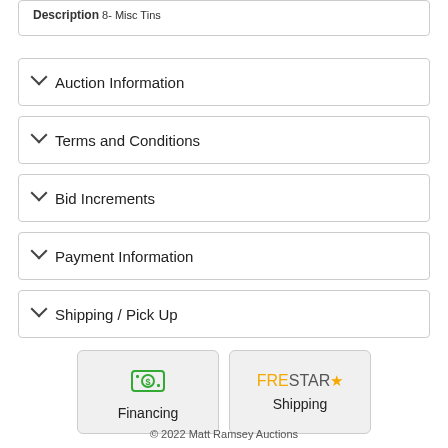Description 8- Misc Tins
Auction Information
Terms and Conditions
Bid Increments
Payment Information
Shipping / Pick Up
[Figure (other): Financing button with money icon]
[Figure (other): FreStar Shipping button with logo]
© 2022 Matt Ramsey Auctions